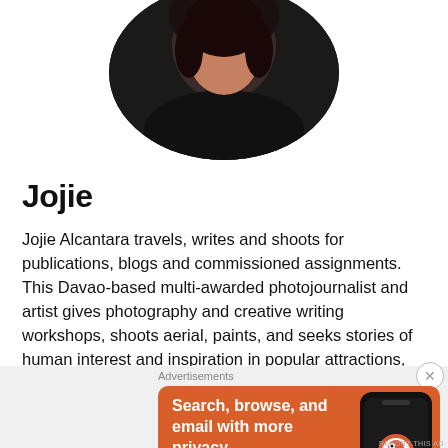[Figure (photo): Circular profile photo of a person (Jojie Alcantara) from the shoulders up, dark background]
Jojie
Jojie Alcantara travels, writes and shoots for publications, blogs and commissioned assignments. This Davao-based multi-awarded photojournalist and artist gives photography and creative writing workshops, shoots aerial, paints, and seeks stories of human interest and inspiration in popular attractions, offbeat places and unexpected locations, in several countries.
Advertisements
[Figure (screenshot): DuckDuckGo advertisement banner with orange background showing 'Search, browse, and email with more privacy. All in One Free App' with a phone mockup and DuckDuckGo logo]